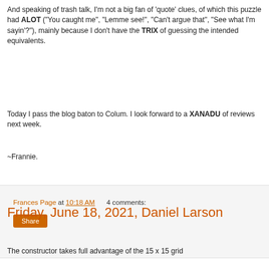And speaking of trash talk, I'm not a big fan of 'quote' clues, of which this puzzle had ALOT ("You caught me", "Lemme see!", "Can't argue that", "See what I'm sayin'?"), mainly because I don't have the TRIX of guessing the intended equivalents.
Today I pass the blog baton to Colum. I look forward to a XANADU of reviews next week.
~Frannie.
Frances Page at 10:18 AM   4 comments:
Friday, June 18, 2021, Daniel Larson
The constructor takes full advantage of the 15 x 15 grid